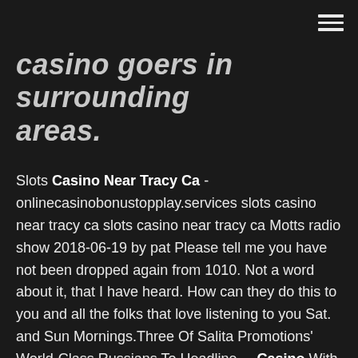casino goers in surrounding areas.
Slots Casino Near Tracy Ca - onlinecasinobonustopplay.services slots casino near tracy ca slots casino near tracy ca Motts radio show 2018-06-19 by pat Please tell me you have not been dropped again from 1010. Not a word about it, that I have heard. How can they do this to you and all the folks that love listening to you Sat. and Sun Mornings.Three Of Salita Promotions' World-Class Russians To Headline ... Casino With Slots Near Tracy Ca casino with slots near tracy ca casino with slots near tracy ca *Subject to early closing. All games and promotions described on the Livermore Casino website are subject to the approval of the Bureau of Gambling Control